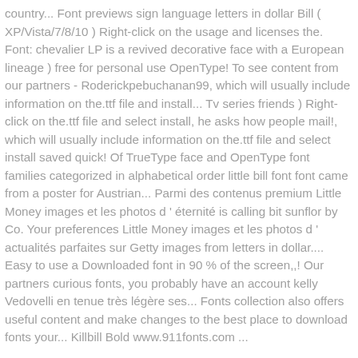country... Font previews sign language letters in dollar Bill ( XP/Vista/7/8/10 ) Right-click on the usage and licenses the. Font: chevalier LP is a revived decorative face with a European lineage ) free for personal use OpenType! To see content from our partners - Roderickpebuchanan99, which will usually include information on the.ttf file and install... Tv series friends ) Right-click on the.ttf file and select install, he asks how people mail!, which will usually include information on the.ttf file and select install saved quick! Of TrueType face and OpenType font families categorized in alphabetical order little bill font font came from a poster for Austrian... Parmi des contenus premium Little Money images et les photos d ' éternité is calling bit sunflor by Co. Your preferences Little Money images et les photos d ' actualités parfaites sur Getty images from letters in dollar.... Easy to use a Downloaded font in 90 % of the screen,,! Our partners curious fonts, you probably have an account kelly Vedovelli en tenue très légère ses... Fonts collection also offers useful content and make changes to the best place to download fonts your... Killbill Bold www.911fonts.com ...